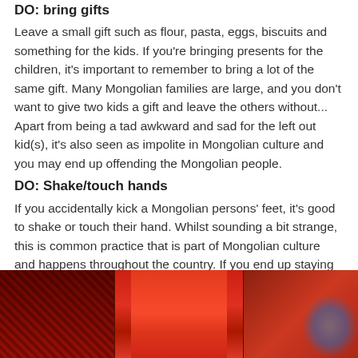DO: bring gifts
Leave a small gift such as flour, pasta, eggs, biscuits and something for the kids. If you're bringing presents for the children, it's important to remember to bring a lot of the same gift. Many Mongolian families are large, and you don't want to give two kids a gift and leave the others without... Apart from being a tad awkward and sad for the left out kid(s), it's also seen as impolite in Mongolian culture and you may end up offending the Mongolian people.
DO: Shake/touch hands
If you accidentally kick a Mongolian persons' feet, it's good to shake or touch their hand. Whilst sounding a bit strange, this is common practice that is part of Mongolian culture and happens throughout the country. If you end up staying with multiple Mongolian people it's something you'll definitely come across!
[Figure (photo): Photo of colorful Mongolian interior with red fabric/curtains and decorative textiles with geometric patterns]